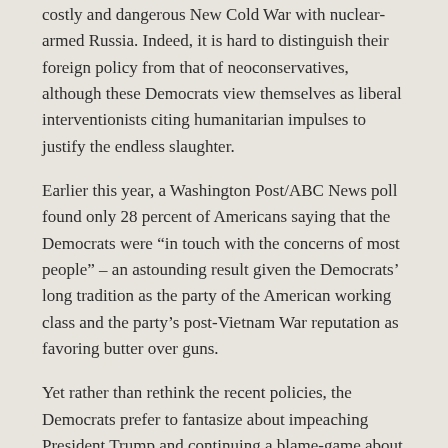costly and dangerous New Cold War with nuclear-armed Russia. Indeed, it is hard to distinguish their foreign policy from that of neoconservatives, although these Democrats view themselves as liberal interventionists citing humanitarian impulses to justify the endless slaughter.
Earlier this year, a Washington Post/ABC News poll found only 28 percent of Americans saying that the Democrats were “in touch with the concerns of most people” – an astounding result given the Democrats’ long tradition as the party of the American working class and the party’s post-Vietnam War reputation as favoring butter over guns.
Yet rather than rethink the recent policies, the Democrats prefer to fantasize about impeaching President Trump and continuing a blame-game about who – other than Hillary Clinton, her campaign and the Democratic National Committee – is responsible for Trump’s election. Of course, it’s the Russians, Russians, Russians!
A Problem’s Deep Roots
of the party’s problems have deep roots that